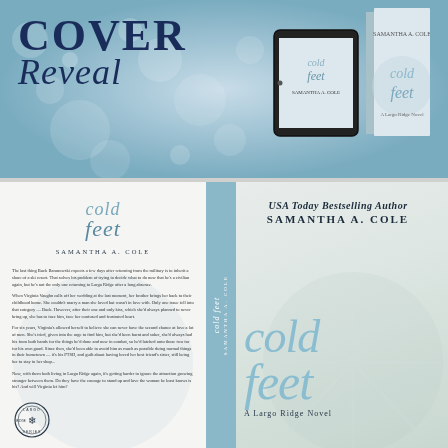[Figure (illustration): Cover reveal promotional image with 'COVER Reveal' text on a blue bokeh background, alongside tablet and book mockups showing 'cold feet' by Samantha A. Cole]
[Figure (illustration): Full book cover spread showing front and back cover and spine of 'cold feet - A Largo Ridge Novel' by Samantha A. Cole (USA Today Bestselling Author). Left panel shows back cover with blurb text and Largo Ridge Series badge. Teal spine in center. Right panel shows front cover with large light blue 'cold feet' title text over snowflake background.]